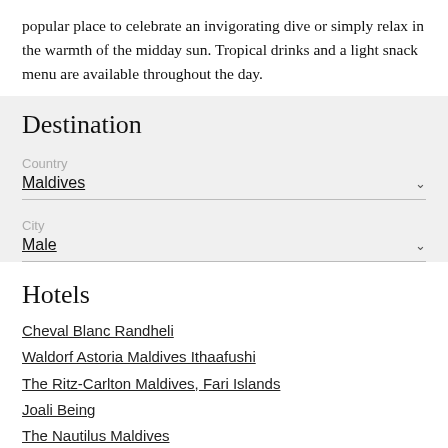popular place to celebrate an invigorating dive or simply relax in the warmth of the midday sun. Tropical drinks and a light snack menu are available throughout the day.
Destination
Country
Maldives
City
Male
Hotels
Cheval Blanc Randheli
Waldorf Astoria Maldives Ithaafushi
The Ritz-Carlton Maldives, Fari Islands
Joali Being
The Nautilus Maldives
Anantara Kihavah Villas
Joali Maldives